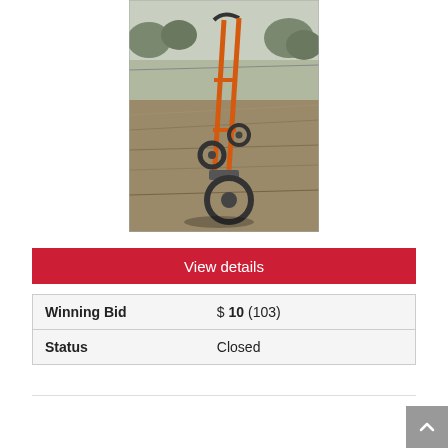[Figure (photo): An orange hand truck / dolly with two large black wheels and a metal frame, photographed outdoors on a dry grass field with trees in the background.]
View details
| Winning Bid | $ 10 (103) |
| Status | Closed |